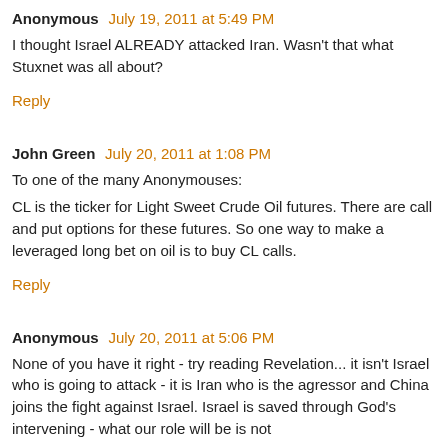Anonymous July 19, 2011 at 5:49 PM
I thought Israel ALREADY attacked Iran. Wasn't that what Stuxnet was all about?
Reply
John Green July 20, 2011 at 1:08 PM
To one of the many Anonymouses:
CL is the ticker for Light Sweet Crude Oil futures. There are call and put options for these futures. So one way to make a leveraged long bet on oil is to buy CL calls.
Reply
Anonymous July 20, 2011 at 5:06 PM
None of you have it right - try reading Revelation... it isn't Israel who is going to attack - it is Iran who is the agressor and China joins the fight against Israel. Israel is saved through God's intervening - what our role will be is not